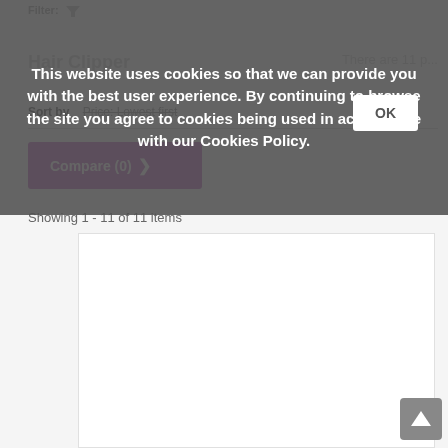Filter:
Hair Clipper
There are 11 products
Sort by:  Price: Lowest first
Compare (0)
Showing 1 - 11 of 11 items
[Figure (screenshot): Cookie consent overlay with text: This website uses cookies so that we can provide you with the best user experience. By continuing to browse the site you agree to cookies being used in accordance with our Cookies Policy. With an OK button.]
[Figure (screenshot): Scroll to top button (arrow up icon) in grey square at bottom right]